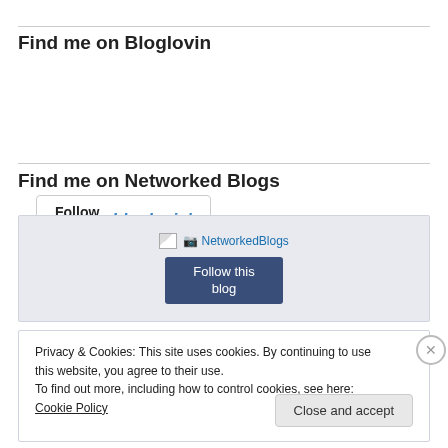Find me on Bloglovin
[Figure (other): Follow me on bloglovin' button widget]
Find me on Networked Blogs
[Figure (other): NetworkedBlogs widget with image placeholder and 'Follow this blog' button]
Privacy & Cookies: This site uses cookies. By continuing to use this website, you agree to their use.
To find out more, including how to control cookies, see here: Cookie Policy
Close and accept